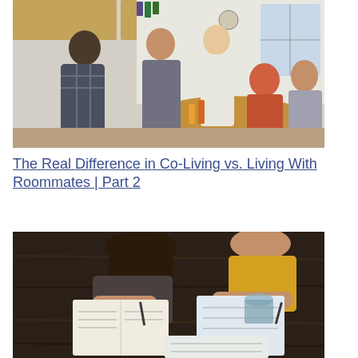[Figure (photo): Group of young people socializing in a kitchen, some standing and drinking, others seated around a table]
The Real Difference in Co-Living vs. Living With Roommates | Part 2
[Figure (photo): Overhead view of two women studying or working at a dark wooden table with books and notebooks]